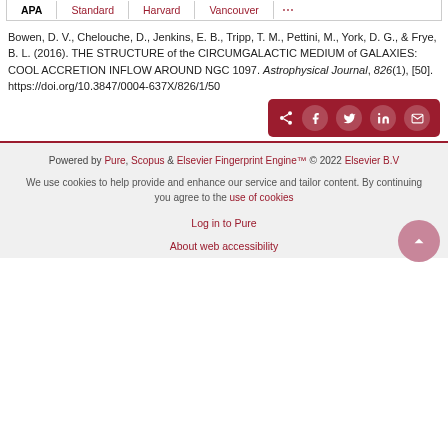APA | Standard | Harvard | Vancouver | ...
Bowen, D. V., Chelouche, D., Jenkins, E. B., Tripp, T. M., Pettini, M., York, D. G., & Frye, B. L. (2016). THE STRUCTURE of the CIRCUMGALACTIC MEDIUM of GALAXIES: COOL ACCRETION INFLOW AROUND NGC 1097. Astrophysical Journal, 826(1), [50]. https://doi.org/10.3847/0004-637X/826/1/50
[Figure (infographic): Share bar with social media icons: share/forward icon, Facebook, Twitter, LinkedIn, Email buttons on dark red background]
Powered by Pure, Scopus & Elsevier Fingerprint Engine™ © 2022 Elsevier B.V
We use cookies to help provide and enhance our service and tailor content. By continuing you agree to the use of cookies
Log in to Pure
About web accessibility